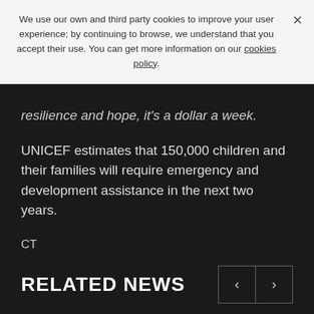We use our own and third party cookies to improve your user experience; by continuing to browse, we understand that you accept their use. You can get more information on our cookies policy.
resilience and hope, it's a dollar a week.
UNICEF estimates that 150,000 children and their families will require emergency and development assistance in the next two years.
CT
UNICEF // WVFP
RELATED NEWS